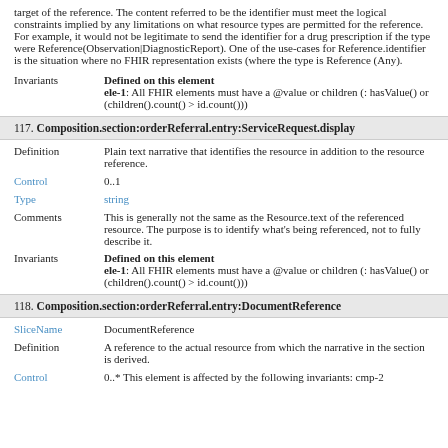target of the reference. The content referred to be the identifier must meet the logical constraints implied by any limitations on what resource types are permitted for the reference. For example, it would not be legitimate to send the identifier for a drug prescription if the type were Reference(Observation|DiagnosticReport). One of the use-cases for Reference.identifier is the situation where no FHIR representation exists (where the type is Reference (Any).
Invariants | Defined on this element
ele-1: All FHIR elements must have a @value or children (: hasValue() or (children().count() > id.count()))
117. Composition.section:orderReferral.entry:ServiceRequest.display
Definition | Plain text narrative that identifies the resource in addition to the resource reference.
Control | 0..1
Type | string
Comments | This is generally not the same as the Resource.text of the referenced resource. The purpose is to identify what's being referenced, not to fully describe it.
Invariants | Defined on this element
ele-1: All FHIR elements must have a @value or children (: hasValue() or (children().count() > id.count()))
118. Composition.section:orderReferral.entry:DocumentReference
SliceName | DocumentReference
Definition | A reference to the actual resource from which the narrative in the section is derived.
Control | 0..* This element is affected by the following invariants: cmp-2